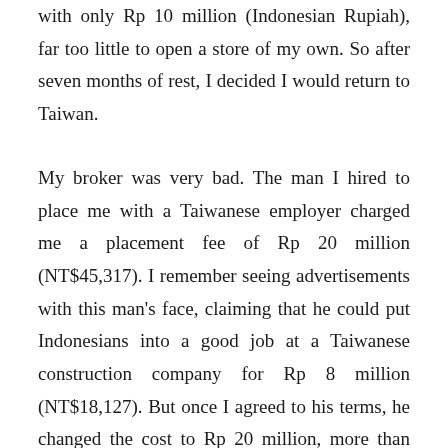with only Rp 10 million (Indonesian Rupiah), far too little to open a store of my own. So after seven months of rest, I decided I would return to Taiwan.
My broker was very bad. The man I hired to place me with a Taiwanese employer charged me a placement fee of Rp 20 million (NT$45,317). I remember seeing advertisements with this man's face, claiming that he could put Indonesians into a good job at a Taiwanese construction company for Rp 8 million (NT$18,127). But once I agreed to his terms, he changed the cost to Rp 20 million, more than double what we'd agreed upon. I felt cheated, but there was nothing I could do. I used the Rp 10 million I had saved, all that I had,